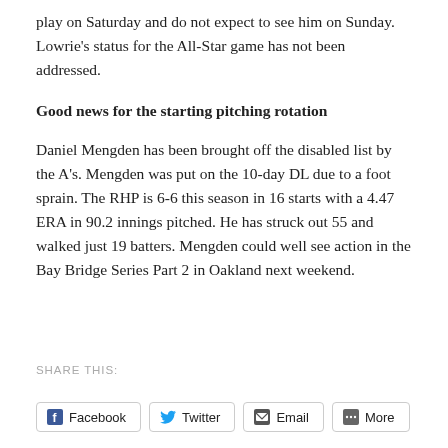play on Saturday and do not expect to see him on Sunday. Lowrie's status for the All-Star game has not been addressed.
Good news for the starting pitching rotation
Daniel Mengden has been brought off the disabled list by the A's. Mengden was put on the 10-day DL due to a foot sprain. The RHP is 6-6 this season in 16 starts with a 4.47 ERA in 90.2 innings pitched. He has struck out 55 and walked just 19 batters. Mengden could well see action in the Bay Bridge Series Part 2 in Oakland next weekend.
SHARE THIS:
Facebook  Twitter  Email  More